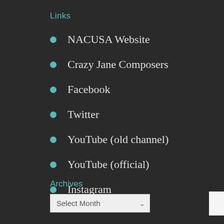Links
NACUSA Website
Crazy Jane Composers
Facebook
Twitter
YouTube (old channel)
YouTube (official)
Instagram
Archives
Select Month
Search